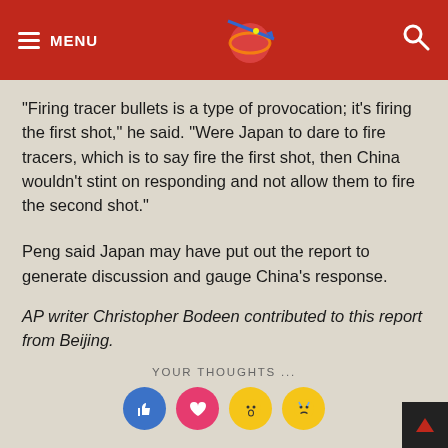MENU [logo] [search]
“Firing tracer bullets is a type of provocation; it’s firing the first shot,” he said. “Were Japan to dare to fire tracers, which is to say fire the first shot, then China wouldn’t stint on responding and not allow them to fire the second shot.”
Peng said Japan may have put out the report to generate discussion and gauge China’s response.
AP writer Christopher Bodeen contributed to this report from Beijing.
YOUR THOUGHTS ...